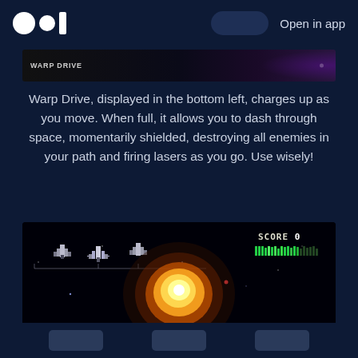Open in app
[Figure (screenshot): Warp Drive banner image — dark space background with 'WARP DRIVE' label]
Warp Drive, displayed in the bottom left, charges up as you move. When full, it allows you to dash through space, momentarily shielded, destroying all enemies in your path and firing lasers as you go. Use wisely!
[Figure (screenshot): Space shooter game screenshot showing spaceship sprites on left, large explosion in center, SCORE 0 in upper right with green health/warp bar, dark space background with stars]